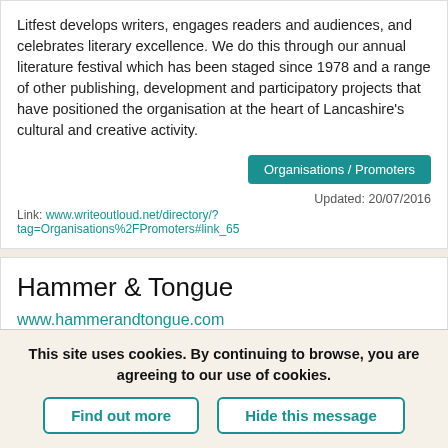Litfest develops writers, engages readers and audiences, and celebrates literary excellence. We do this through our annual literature festival which has been staged since 1978 and a range of other publishing, development and participatory projects that have positioned the organisation at the heart of Lancashire's cultural and creative activity.
Organisations / Promoters
Updated: 20/07/2016
Link: www.writeoutloud.net/directory/?tag=Organisations%2FPromoters#link_65
Hammer & Tongue
www.hammerandtongue.com
The UK's poetry slam people, making new champions and promoting the best in touring Spoken Word.
This site uses cookies. By continuing to browse, you are agreeing to our use of cookies.
Find out more
Hide this message